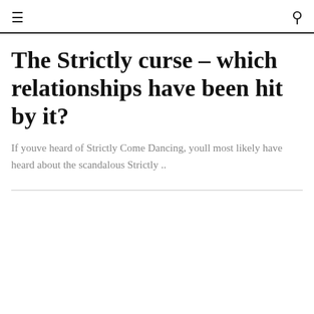≡  🔍
The Strictly curse – which relationships have been hit by it?
If youve heard of Strictly Come Dancing, youll most likely have heard about the scandalous Strictly ..